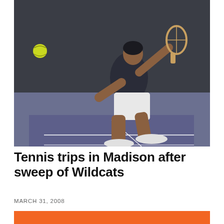[Figure (photo): A tennis player in a dark shirt and white shorts hitting a backhand shot on an indoor tennis court with purple/blue surface. A yellow tennis ball is visible in the upper left. The player is lunging to hit the ball.]
Tennis trips in Madison after sweep of Wildcats
MARCH 31, 2008
[Figure (other): Orange/red colored rectangle block at the bottom of the page]